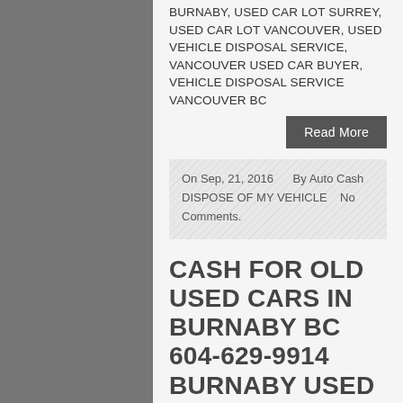BURNABY, USED CAR LOT SURREY, USED CAR LOT VANCOUVER, USED VEHICLE DISPOSAL SERVICE, VANCOUVER USED CAR BUYER, VEHICLE DISPOSAL SERVICE VANCOUVER BC
Read More
On Sep, 21, 2016   By Auto Cash   DISPOSE OF MY VEHICLE   No Comments.
CASH FOR OLD USED CARS IN BURNABY BC 604-629-9914 BURNABY USED VEHICLE BUYER